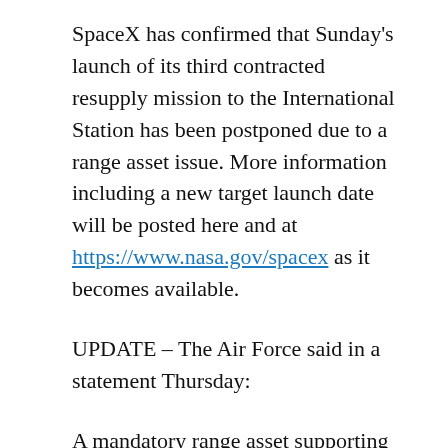SpaceX has confirmed that Sunday's launch of its third contracted resupply mission to the International Station has been postponed due to a range asset issue. More information including a new target launch date will be posted here and at https://www.nasa.gov/spacex as it becomes available.
UPDATE – The Air Force said in a statement Thursday:
A mandatory range asset supporting the NROL-67 launch went offline, March 24, 2014. An investigation revealed a tracking radar experienced an electrical short, overheating